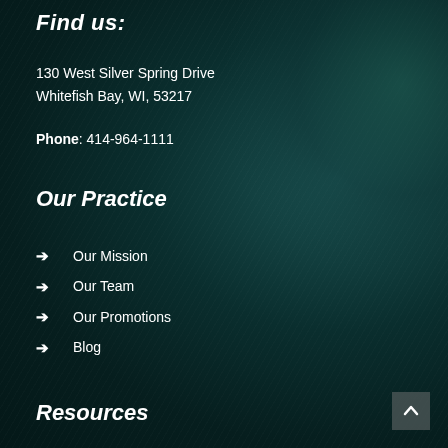Find us:
130 West Silver Spring Drive
Whitefish Bay, WI, 53217
Phone: 414-964-1111
Our Practice
Our Mission
Our Team
Our Promotions
Blog
Resources